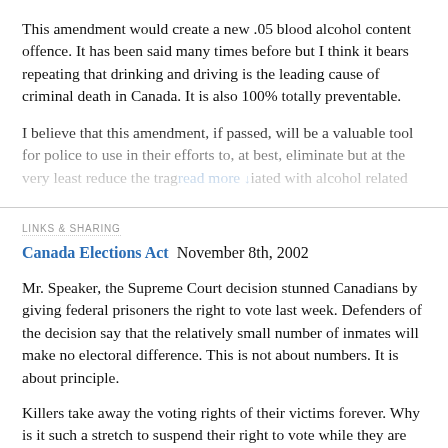This amendment would create a new .05 blood alcohol content offence. It has been said many times before but I think it bears repeating that drinking and driving is the leading cause of criminal death in Canada. It is also 100% totally preventable.
I believe that this amendment, if passed, will be a valuable tool for police to use in their efforts to, at best, eliminate but at the very least reduce the tragedies associated with alcohol related [read more]
LINKS & SHARING
Canada Elections Act  November 8th, 2002
Mr. Speaker, the Supreme Court decision stunned Canadians by giving federal prisoners the right to vote last week. Defenders of the decision say that the relatively small number of inmates will make no electoral difference. This is not about numbers. It is about principle.
Killers take away the voting rights of their victims forever. Why is it such a stretch to suspend their right to vote while they are incarcerated? Will the Minister of Justice immediately introduce